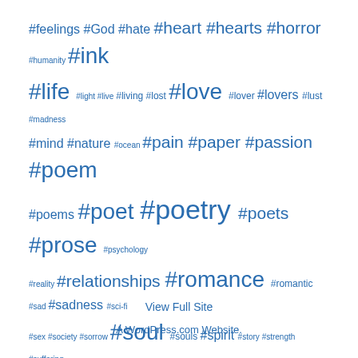[Figure (infographic): Tag cloud of hashtags in blue color with varying font sizes representing frequency/importance. Tags include: #feelings #God #hate #heart #hearts #horror #humanity #ink #life #light #live #living #lost #love #lover #lovers #lust #madness #mind #nature #ocean #pain #paper #passion #poem #poems #poet #poetry #poets #prose #psychology #reality #relationships #romance #romantic #sad #sadness #sci-fi #sex #society #sorrow #soul #souls #spirit #story #strength #suffering #surreal #surrealism #tears #thoughts #time #truth #words #world #writer #writers #writing #writings]
View Full Site
A WordPress.com Website.